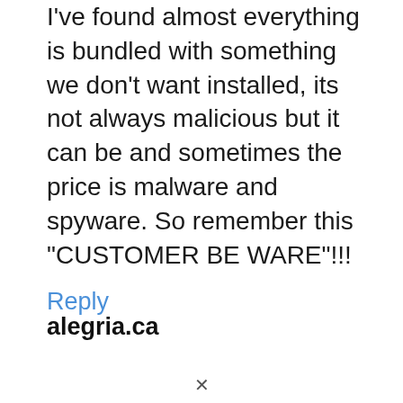I've found almost everything is bundled with something we don't want installed, its not always malicious but it can be and sometimes the price is malware and spyware. So remember this “CUSTOMER BE WARE”!!!
Reply
alegria.ca